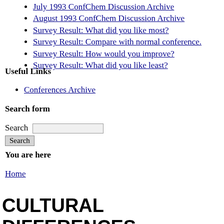July 1993 ConfChem Discussion Archive
August 1993 ConfChem Discussion Archive
Survey Result: What did you like most?
Survey Result: Compare with normal conference.
Survey Result: How would you improve?
Survey Result: What did you like least?
Useful Links
Conferences Archive
Search form
Search [input] Search [button]
You are here
Home
CULTURAL DIFFERENCES